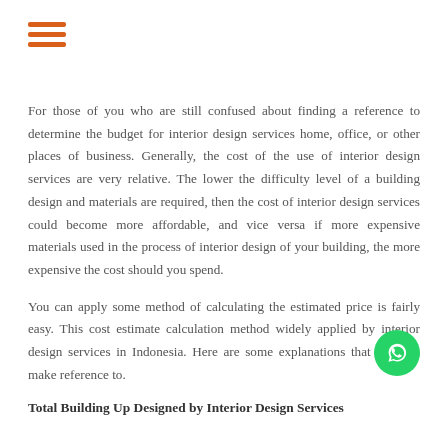[Figure (logo): Hamburger menu icon with three orange horizontal lines]
For those of you who are still confused about finding a reference to determine the budget for interior design services home, office, or other places of business. Generally, the cost of the use of interior design services are very relative. The lower the difficulty level of a building design and materials are required, then the cost of interior design services could become more affordable, and vice versa if more expensive materials used in the process of interior design of your building, the more expensive the cost should you spend.
You can apply some method of calculating the estimated price is fairly easy. This cost estimate calculation method widely applied by interior design services in Indonesia. Here are some explanations that you can make reference to.
[Figure (logo): WhatsApp green circle button icon]
Total Building Up Designed by Interior Design Services